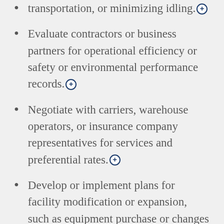transportation, or minimizing idling.⊕
Evaluate contractors or business partners for operational efficiency or safety or environmental performance records.⊕
Negotiate with carriers, warehouse operators, or insurance company representatives for services and preferential rates.⊕
Develop or implement plans for facility modification or expansion, such as equipment purchase or changes in space allocation or structural design.⊕
Direct inbound or outbound operations,